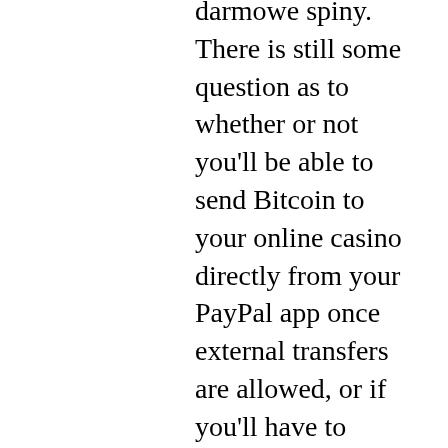darmowe spiny. There is still some question as to whether or not you'll be able to send Bitcoin to your online casino directly from your PayPal app once external transfers are allowed, or if you'll have to transfer it to a personal wallet first. Until this is clarified, please purchase BTC on the exchanges and not via PayPal for use at legitimate online casinos, bitstarz no deposit promo code 2022. Users can play all the Bovada platforms including their casino, sportsbook, poker room, and more with a single user account. Most Trusted And Safe Bitcoin Casinos, bitstarz no deposit promo code. However, another use that this activity is being put to, besides acting as a decider in some situations, like gaming or to pass the time or just doing it for the sake of it, bitstarz no deposit darmowe spiny. Flip a Coin: The Latest Trends. A Step-By-Step Guide to Using Bitcoin For Internet Poker, Sports, Casino (Anything Really) You may have